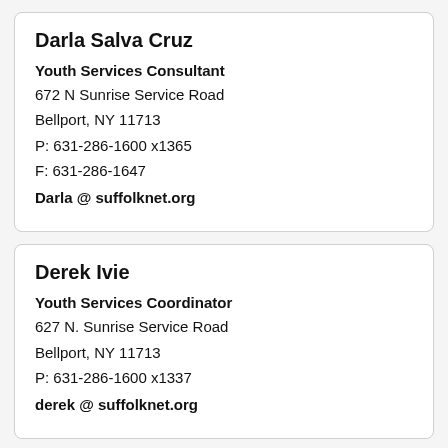Darla Salva Cruz
Youth Services Consultant
672 N Sunrise Service Road
Bellport, NY 11713
P: 631-286-1600 x1365
F: 631-286-1647
Darla @ suffolknet.org
Derek Ivie
Youth Services Coordinator
627 N. Sunrise Service Road
Bellport, NY 11713
P: 631-286-1600 x1337
derek @ suffolknet.org